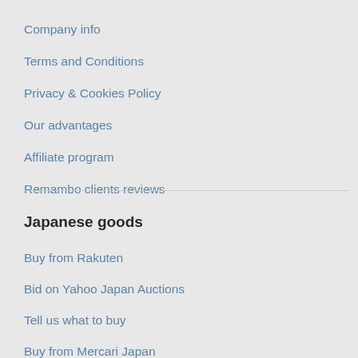Company info
Terms and Conditions
Privacy & Cookies Policy
Our advantages
Affiliate program
Remambo clients reviews
Japanese goods
Buy from Rakuten
Bid on Yahoo Japan Auctions
Tell us what to buy
Buy from Mercari Japan